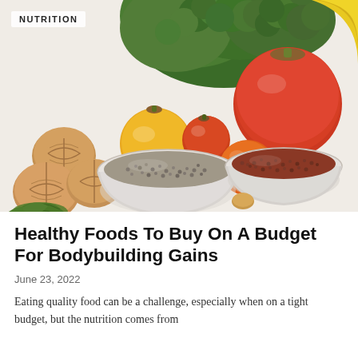[Figure (photo): Overhead photo of assorted healthy foods including broccoli, walnuts, yellow and red tomatoes, chia seeds in a glass bowl, red seeds/quinoa in a glass bowl, arugula leaves, and a banana, arranged on a white surface. A 'NUTRITION' label badge is overlaid in the top-left corner.]
Healthy Foods To Buy On A Budget For Bodybuilding Gains
June 23, 2022
Eating quality food can be a challenge, especially when on a tight budget, but the nutrition comes from...